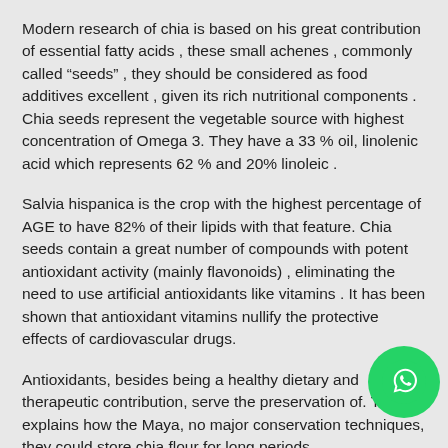Modern research of chia is based on his great contribution of essential fatty acids , these small achenes , commonly called “seeds” , they should be considered as food additives excellent , given its rich nutritional components . Chia seeds represent the vegetable source with highest concentration of Omega 3. They have a 33 % oil, linolenic acid which represents 62 % and 20% linoleic .
Salvia hispanica is the crop with the highest percentage of AGE to have 82% of their lipids with that feature. Chia seeds contain a great number of compounds with potent antioxidant activity (mainly flavonoids) , eliminating the need to use artificial antioxidants like vitamins . It has been shown that antioxidant vitamins nullify the protective effects of cardiovascular drugs.
Antioxidants, besides being a healthy dietary and therapeutic contribution, serve the preservation of. This explains how the Maya, no major conservation techniques, they could store chia flour for long periods
[Figure (logo): WhatsApp chat button icon, green circle with white phone/chat icon]